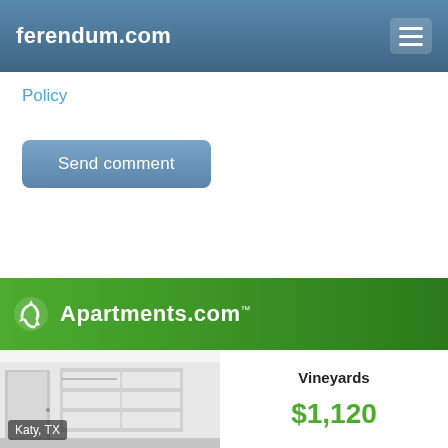ferendum.com
Policy
Send comment
[Figure (screenshot): Apartments.com advertisement banner with green gradient background and white logo]
[Figure (photo): Interior photo of a walk-in closet with white shelves and hanging rods, labeled Katy, TX]
Vineyards
$1,120